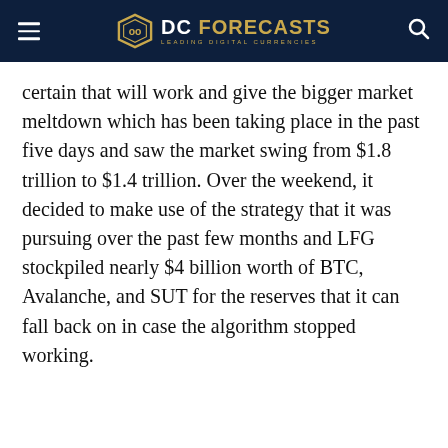DC FORECASTS — LEADING DIGITAL CURRENCIES
certain that will work and give the bigger market meltdown which has been taking place in the past five days and saw the market swing from $1.8 trillion to $1.4 trillion. Over the weekend, it decided to make use of the strategy that it was pursuing over the past few months and LFG stockpiled nearly $4 billion worth of BTC, Avalanche, and SUT for the reserves that it can fall back on in case the algorithm stopped working.